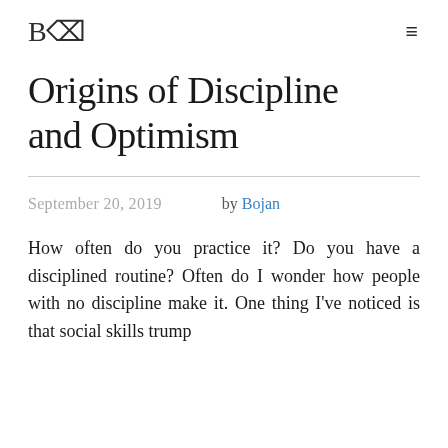BD
Origins of Discipline and Optimism
September 20, 2019   by Bojan
How often do you practice it? Do you have a disciplined routine? Often do I wonder how people with no discipline make it. One thing I've noticed is that social skills trump